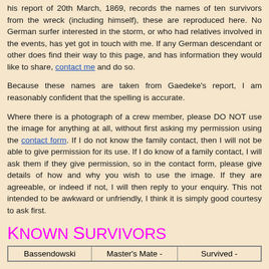his report of 20th March, 1869, records the names of ten survivors from the wreck (including himself), these are reproduced here. No German surfer interested in the storm, or who had relatives involved in the events, has yet got in touch with me. If any German descendant or other does find their way to this page, and has information they would like to share, contact me and do so.
Because these names are taken from Gaedeke's report, I am reasonably confident that the spelling is accurate.
Where there is a photograph of a crew member, please DO NOT use the image for anything at all, without first asking my permission using the contact form. If I do not know the family contact, then I will not be able to give permission for its use. If I do know of a family contact, I will ask them if they give permission, so in the contact form, please give details of how and why you wish to use the image. If they are agreeable, or indeed if not, I will then reply to your enquiry. This not intended to be awkward or unfriendly, I think it is simply good courtesy to ask first.
Known Survivors
| Bassendowski | Master's Mate - | Survived - |
| --- | --- | --- |